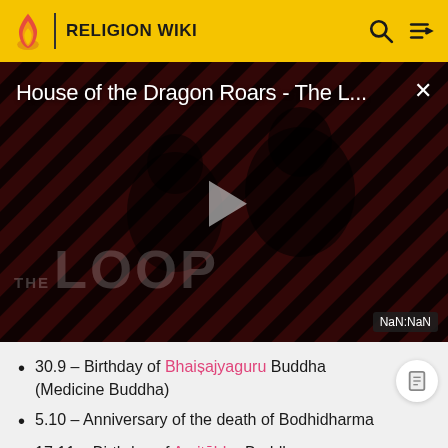RELIGION WIKI
[Figure (screenshot): Video thumbnail for 'House of the Dragon Roars - The L...' with play button, THE LOOP watermark, and NaN:NaN duration badge]
30.9 – Birthday of Bhaișajyaguru Buddha (Medicine Buddha)
5.10 – Anniversary of the death of Bodhidharma
17.11 – Birthday of Amitābha Buddha